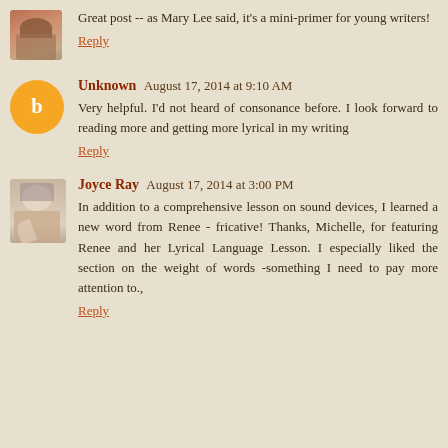[Figure (photo): Small photo avatar of a person at top left]
Great post -- as Mary Lee said, it's a mini-primer for young writers!
Reply
[Figure (illustration): Orange circle avatar with white blogger 'b' icon]
Unknown August 17, 2014 at 9:10 AM
Very helpful. I'd not heard of consonance before. I look forward to reading more and getting more lyrical in my writing
Reply
[Figure (photo): Photo avatar of Joyce Ray, an older woman]
Joyce Ray August 17, 2014 at 3:00 PM
In addition to a comprehensive lesson on sound devices, I learned a new word from Renee - fricative! Thanks, Michelle, for featuring Renee and her Lyrical Language Lesson. I especially liked the section on the weight of words -something I need to pay more attention to.,
Reply